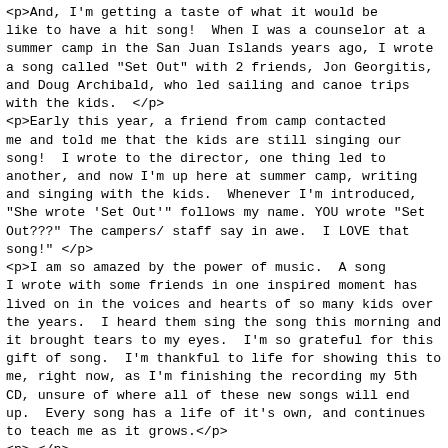&lt;p&gt;And, I'm getting a taste of what it would be like to have a hit song!  When I was a counselor at a summer camp in the San Juan Islands years ago, I wrote a song called "Set Out" with 2 friends, Jon Georgitis, and Doug Archibald, who led sailing and canoe trips with the kids.  &lt;/p&gt;
&lt;p&gt;Early this year, a friend from camp contacted me and told me that the kids are still singing our song!  I wrote to the director, one thing led to another, and now I'm up here at summer camp, writing and singing with the kids.  Whenever I'm introduced, "She wrote 'Set Out'" follows my name. YOU wrote "Set Out???" The campers/ staff say in awe.  I LOVE that song!" &lt;/p&gt;
&lt;p&gt;I am so amazed by the power of music.  A song I wrote with some friends in one inspired moment has lived on in the voices and hearts of so many kids over the years.  I heard them sing the song this morning and it brought tears to my eyes.  I'm so grateful for this gift of song.  I'm thankful to life for showing this to me, right now, as I'm finishing the recording my 5th CD, unsure of where all of these new songs will end up.  Every song has a life of it's own, and continues to teach me as it grows.&lt;/p&gt;
&lt;p&gt; &lt;/p&gt;
&lt;p&gt;Set Out&lt;/p&gt;
&lt;p&gt; &lt;/p&gt;
&lt;p&gt;Set out on the road yesterday&lt;/p&gt;
&lt;p&gt;Brought my guitar along&lt;/p&gt;
&lt;p&gt;Two weeks now I've been traveling&lt;/p&gt;
&lt;p&gt;Trying to find me a song&lt;/p&gt;